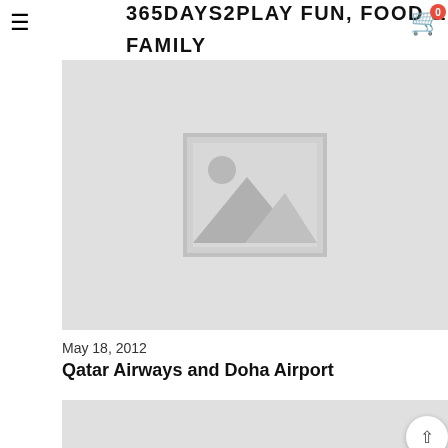365DAYS2PLAY FUN, FOOD & FAMILY
[Figure (photo): Image placeholder with mountain/landscape icon on light gray background]
May 18, 2012
Qatar Airways and Doha Airport
[Figure (photo): Second image placeholder, light gray background, partially visible]